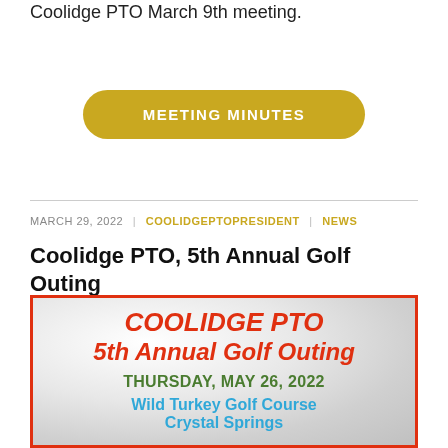Coolidge PTO March 9th meeting.
[Figure (other): Golden pill-shaped button with white text reading MEETING MINUTES]
MARCH 29, 2022 | COOLIDGEPTOPRESIDENT | NEWS
Coolidge PTO, 5th Annual Golf Outing
[Figure (infographic): Golf outing promotional flyer with red border, golf ball background, red italic text COOLIDGE PTO 5th Annual Golf Outing, green text THURSDAY, MAY 26, 2022, blue text Wild Turkey Golf Course Crystal Springs]